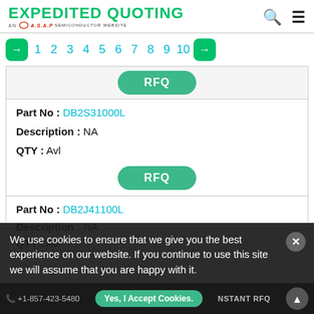EXPEDITED QUOTING — AN A.S.A.P SEMICONDUCTOR WEBSITE
[Figure (screenshot): Pagination bar with arrows and page numbers 1 through 10]
RFQ
Part No : DB2S31000L
Description : NA
QTY : Avl
RFQ
Part No : DB2J41100L
Description : NA
QTY : Avl
We use cookies to ensure that we give you the best experience on our website. If you continue to use this site we will assume that you are happy with it.
Yes, I Accept Cookies.
+1-857-423-5480  INSTANT RFQ